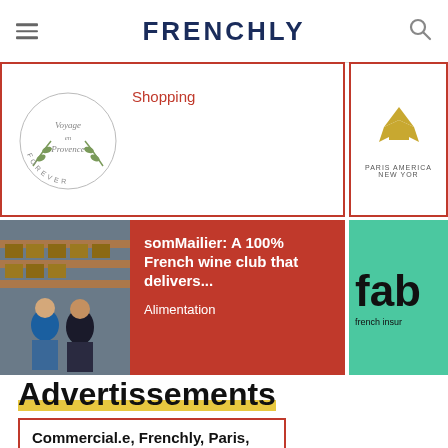FRENCHLY
[Figure (logo): Voyage en France Forever circular logo with olive branch]
Shopping
[Figure (logo): Paris American New York eagle logo (partially visible)]
[Figure (photo): Two men standing in a warehouse with wine boxes]
somMailier: A 100% French wine club that delivers...
Alimentation
[Figure (logo): fab french insur logo on green background (partially visible)]
Advertissements
Commercial.e, Frenchly, Paris, France